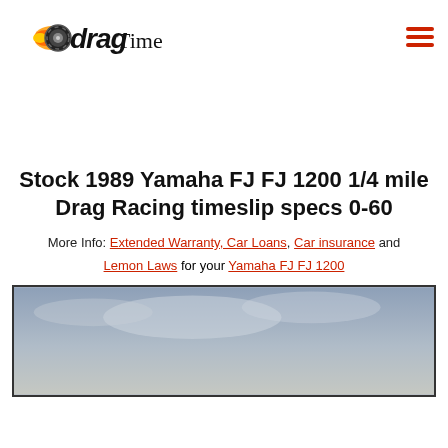dragTimes
Stock 1989 Yamaha FJ FJ 1200 1/4 mile Drag Racing timeslip specs 0-60
More Info: Extended Warranty, Car Loans, Car insurance and Lemon Laws for your Yamaha FJ FJ 1200
[Figure (photo): Outdoor drag racing track photo with overcast sky]